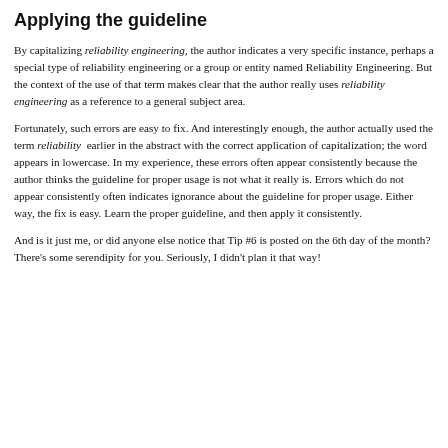Applying the guideline
By capitalizing reliability engineering, the author indicates a very specific instance, perhaps a special type of reliability engineering or a group or entity named Reliability Engineering.  But the context of the use of that term makes clear that the author really uses reliability engineering as a reference to a general subject area.
Fortunately, such errors are easy to fix.  And interestingly enough, the author actually used the term reliability  earlier in the abstract with the correct application of capitalization; the word appears in lowercase.  In my experience, these errors often appear consistently because the author thinks the guideline for proper usage is not what it really is.  Errors which do not appear consistently often indicates ignorance about the guideline for proper usage.  Either way, the fix is easy.  Learn the proper guideline, and then apply it consistently.
And is it just me, or did anyone else notice that Tip #6 is posted on the 6th day of the month?  There's some serendipity for you.  Seriously, I didn't plan it that way!